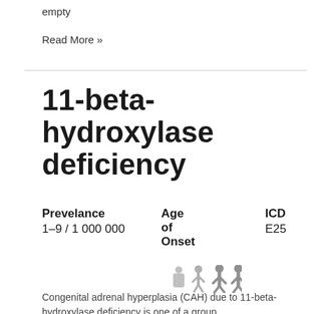empty
Read More »
11-beta-hydroxylase deficiency
Prevelance
1-9 / 1 000 000
Age of Onset
ICD
E25
[Figure (illustration): Three human figure icons representing age of onset groups: infant, child, adult]
Congenital adrenal hyperplasia (CAH) due to 11-beta-hydroxylase deficiency is one of a group